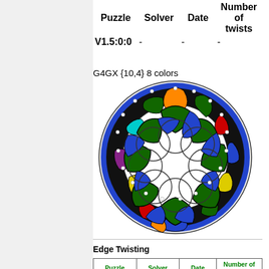| Puzzle | Solver | Date | Number of twists |
| --- | --- | --- | --- |
| V1.5:0:0 | - | - | - |
G4GX {10,4} 8 colors
[Figure (illustration): Circular puzzle diagram G4GX {10,4} 8 colors — a hyperbolic tiling puzzle shown as a circle with colored segments around the edge (green, blue, orange, red, cyan, yellow, purple) and overlapping circles forming the interior pattern.]
Edge Twisting
| Puzzle | Solver | Date | Number of twists |
| --- | --- | --- | --- |